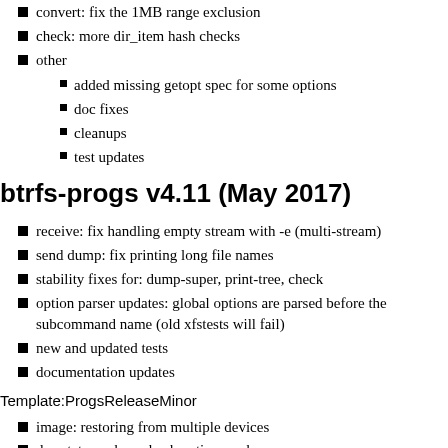convert: fix the 1MB range exclusion
check: more dir_item hash checks
other
added missing getopt spec for some options
doc fixes
cleanups
test updates
btrfs-progs v4.11 (May 2017)
receive: fix handling empty stream with -e (multi-stream)
send dump: fix printing long file names
stability fixes for: dump-super, print-tree, check
option parser updates: global options are parsed before the subcommand name (old xfstests will fail)
new and updated tests
documentation updates
Template:ProgsReleaseMinor
image: restoring from multiple devices
dev stats: make --check option work
check: fix false alert with extent hole on a NO_HOLE filesystem
check: lowmem mode, fix false alert in case of mixed inline